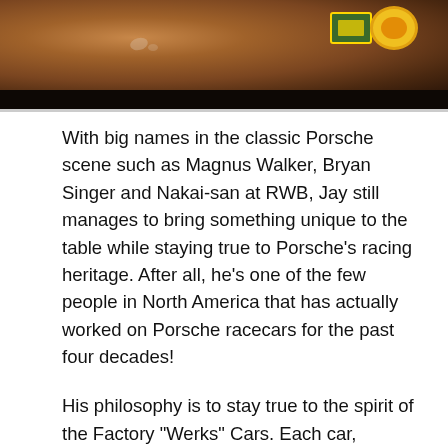[Figure (photo): Close-up photo of a brown/rusty vintage Porsche car body with stickers in the upper right corner including a yellow circular sticker and a green rectangular sticker with gold border.]
With big names in the classic Porsche scene such as Magnus Walker, Bryan Singer and Nakai-san at RWB, Jay still manages to bring something unique to the table while staying true to Porsche's racing heritage. After all, he's one of the few people in North America that has actually worked on Porsche racecars for the past four decades!
His philosophy is to stay true to the spirit of the Factory "Werks" Cars. Each car, whether it is intended for street or track, must have the complete package from the exterior, interior and performance. In other words, it has to be able to snap necks with its looks as well as its speed.